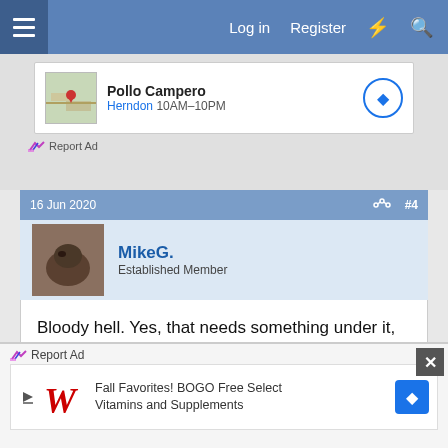Log in  Register
[Figure (screenshot): Pollo Campero advertisement: map thumbnail, name 'Pollo Campero', location 'Herndon 10AM-10PM', navigation button]
Report Ad
16 Jun 2020  #4
MikeG.
Established Member
Bloody hell. Yes, that needs something under it, and it needs a damn sight more than what's in that photo holding the legs. If someone bumps the end that'll rip those threaded inserts straight out. Tell your client that there is a good reason tables look the way they do.
[Figure (screenshot): Walgreens ad: Fall Favorites! BOGO Free Select Vitamins and Supplements]
Report Ad